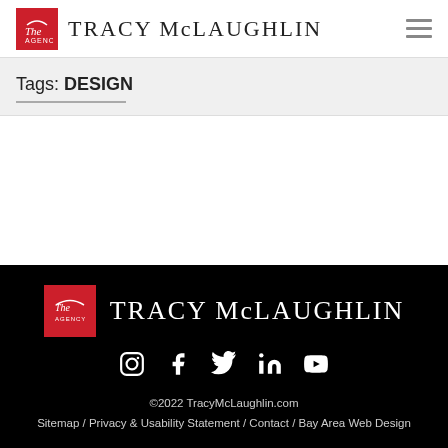TRACY McLAUGHLIN
Tags: DESIGN
[Figure (logo): Tracy McLaughlin logo with red square icon and text TRACY McLAUGHLIN in footer]
©2022 TracyMcLaughlin.com Sitemap / Privacy & Usability Statement / Contact / Bay Area Web Design